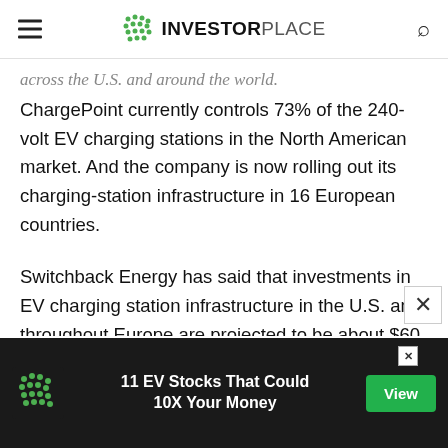INVESTORPLACE
across the U.S. and around the world.
ChargePoint currently controls 73% of the 240-volt EV charging stations in the North American market. And the company is now rolling out its charging-station infrastructure in 16 European countries.
Switchback Energy has said that investments in EV charging station infrastructure in the U.S. and throughout Europe are projected to be about $60 billion in 2030 and close to $100 billion by 2040. For investors that adds up to big growth.
[Figure (infographic): Advertisement banner: InvestorPlace logo, text '11 EV Stocks That Could 10X Your Money', green 'View' button]